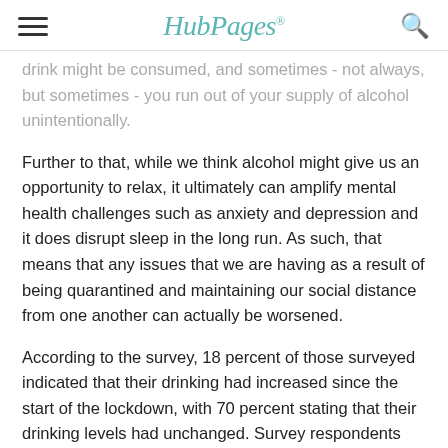HubPages
drink might be consumed, and sometimes - not always, but sometimes - you run out of your supply of alcohol unintentionally.
Further to that, while we think alcohol might give us an opportunity to relax, it ultimately can amplify mental health challenges such as anxiety and depression and it does disrupt sleep in the long run. As such, that means that any issues that we are having as a result of being quarantined and maintaining our social distance from one another can actually be worsened.
According to the survey, 18 percent of those surveyed indicated that their drinking had increased since the start of the lockdown, with 70 percent stating that their drinking levels had unchanged. Survey respondents were allowed to select any options that they felt applied as to why their drinking had increased. Over half of those who said their